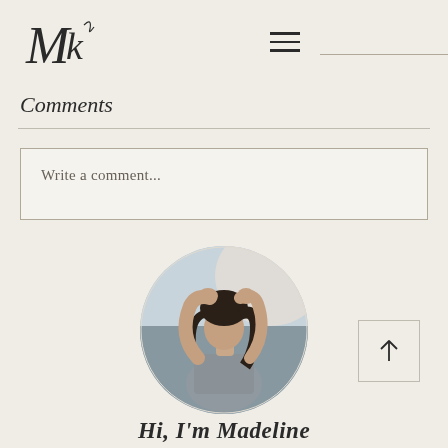Mk [logo] — navigation hamburger
Comments
Write a comment...
[Figure (photo): Circular portrait photo of a woman in athletic wear (sports bra) with arms raised, looking to the side, with a blurred outdoor background]
Hi, I'm Madeline
Welcome to Madeline Kopp— your source of inspo for finding a balance between healthy living and going after everything that you want! Here you'll find balanced, healthy lifestyle hacks